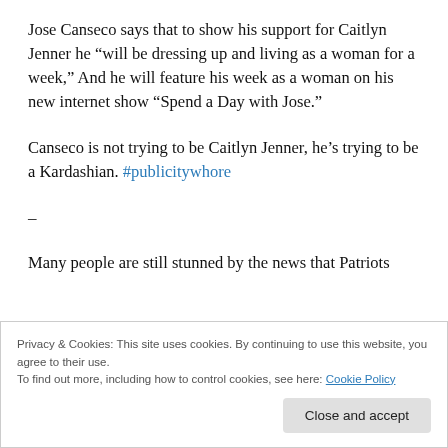Jose Canseco says that to show his support for Caitlyn Jenner he “will be dressing up and living as a woman for a week,” And he will feature his week as a woman on his new internet show “Spend a Day with Jose.”
Canseco is not trying to be Caitlyn Jenner, he’s trying to be a Kardashian. #publicitywhore
–
Many people are still stunned by the news that Patriots
Privacy & Cookies: This site uses cookies. By continuing to use this website, you agree to their use.
To find out more, including how to control cookies, see here: Cookie Policy